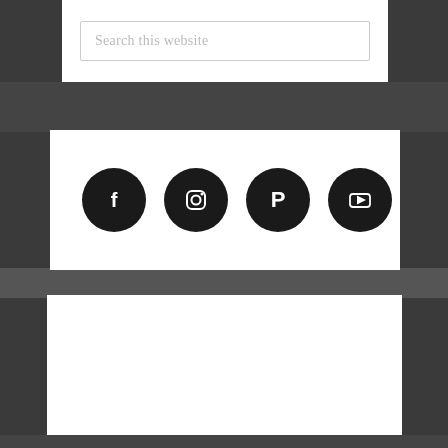Search this website
[Figure (infographic): Row of four social media icon circles: Facebook, Instagram, Pinterest, YouTube — all dark/black circles with white icons]